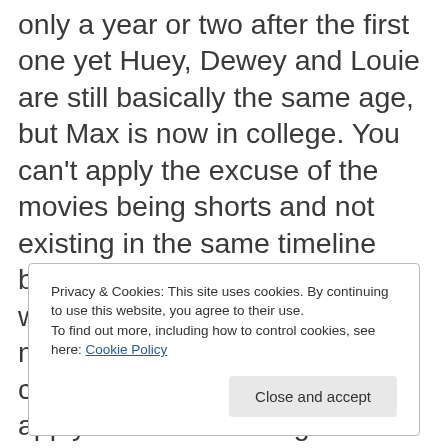only a year or two after the first one yet Huey, Dewey and Louie are still basically the same age, but Max is now in college. You can't apply the excuse of the movies being shorts and not existing in the same timeline because the first movie ended with all of the characters meeting up to sing Christmas carols. The only logic I can apply to this is that dogs and ducks age differently? But if we're taking that
Privacy & Cookies: This site uses cookies. By continuing to use this website, you agree to their use.
To find out more, including how to control cookies, see here: Cookie Policy